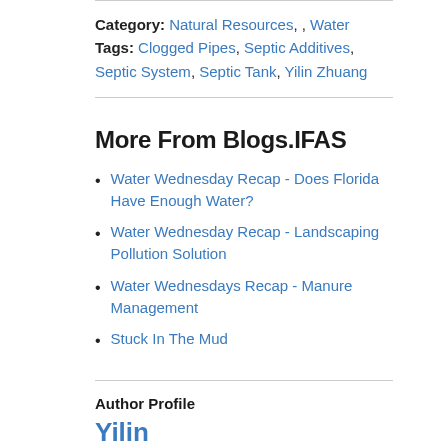Category: Natural Resources, , Water
Tags: Clogged Pipes, Septic Additives, Septic System, Septic Tank, Yilin Zhuang
More From Blogs.IFAS
Water Wednesday Recap - Does Florida Have Enough Water?
Water Wednesday Recap - Landscaping Pollution Solution
Water Wednesdays Recap - Manure Management
Stuck In The Mud
Author Profile
Yilin